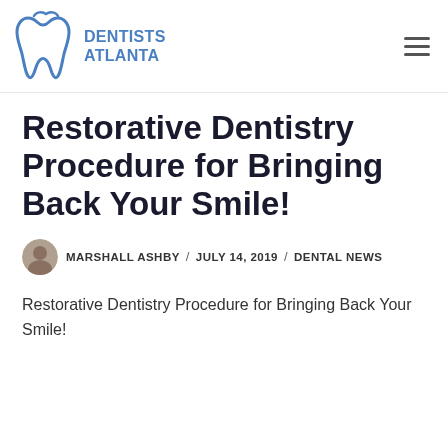Dentists Atlanta
Restorative Dentistry Procedure for Bringing Back Your Smile!
MARSHALL ASHBY / JULY 14, 2019 / DENTAL NEWS
Restorative Dentistry Procedure for Bringing Back Your Smile!